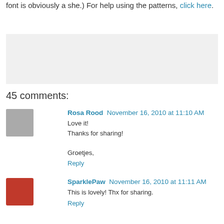font is obviously a she.) For help using the patterns, click here.
[Figure (other): Advertisement or banner image placeholder (gray box)]
45 comments:
Rosa Rood  November 16, 2010 at 11:10 AM
Love it!
Thanks for sharing!

Groetjes,
Reply
SparklePaw  November 16, 2010 at 11:11 AM
This is lovely! Thx for sharing.
Reply